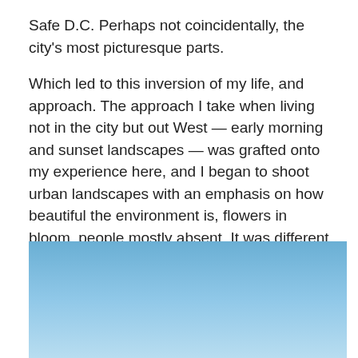Safe D.C. Perhaps not coincidentally, the city's most picturesque parts.
Which led to this inversion of my life, and approach. The approach I take when living not in the city but out West — early morning and sunset landscapes — was grafted onto my experience here, and I began to shoot urban landscapes with an emphasis on how beautiful the environment is, flowers in bloom, people mostly absent. It was different and thrilling. At first.
[Figure (photo): A photograph showing a light blue sky gradient, lighter at the bottom and slightly darker at the top, representing an outdoor urban or landscape scene.]